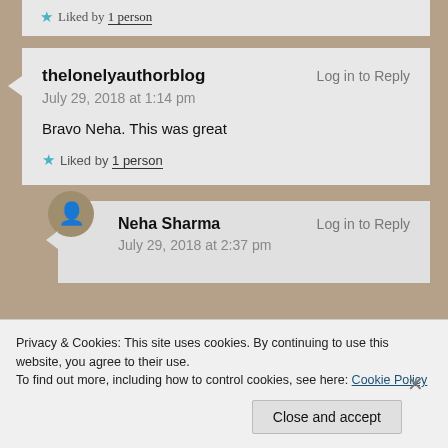★ Liked by 1 person
thelonelyauthorblog — Log in to Reply
July 29, 2018 at 1:14 pm

Bravo Neha. This was great

★ Liked by 1 person
Neha Sharma — Log in to Reply
July 29, 2018 at 2:37 pm
Privacy & Cookies: This site uses cookies. By continuing to use this website, you agree to their use.
To find out more, including how to control cookies, see here: Cookie Policy
Close and accept